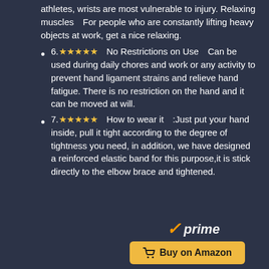athletes, wrists are most vulnerable to injury. Relaxing muscles【For people who are constantly lifting heavy objects at work, get a nice relaxing.
6.★★★★★【No Restrictions on Use】Can be used during daily chores and work or any activity to prevent hand ligament strains and relieve hand fatigue. There is no restriction on the hand and it can be moved at will.
7.★★★★★【How to wear it】:Just put your hand inside, pull it tight according to the degree of tightness you need, in addition, we have designed a reinforced elastic band for this purpose,it is stick directly to the elbow brace and tightened.
[Figure (logo): Amazon Prime logo with checkmark]
Buy on Amazon